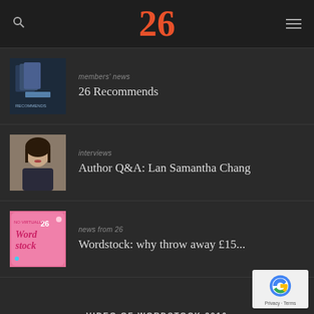26
[Figure (photo): Thumbnail image of book covers]
members' news
26 Recommends
[Figure (photo): Portrait photo of a woman with short dark hair]
interviews
Author Q&A: Lan Samantha Chang
[Figure (logo): Wordstock event logo - pink background with 'No Virtually 26 Wordstock' text]
news from 26
Wordstock: why throw away £15...
VIDEO OF WORDSTOCK 2016
[Figure (logo): Google reCAPTCHA badge with Privacy and Terms links]